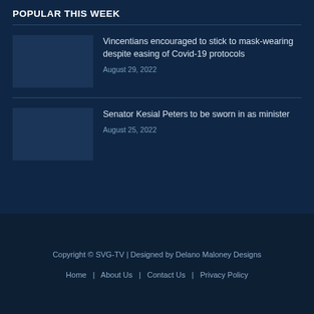POPULAR THIS WEEK
Vincentians encouraged to stick to mask-wearing despite easing of Covid-19 protocols
August 29, 2022
Senator Kesial Peters to be sworn in as minister
August 25, 2022
Copyright © SVG-TV | Designed by Delano Maloney Designs
Home | About Us | Contact Us | Privacy Policy